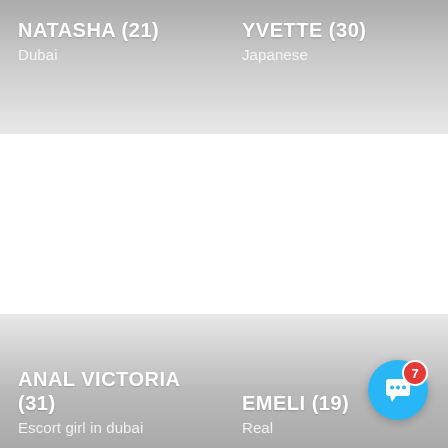NATASHA (21)
Dubai
YVETTE (30)
Japanese
ANAL VICTORIA (31)
Escort girl in dubai
EMELI (19)
Real